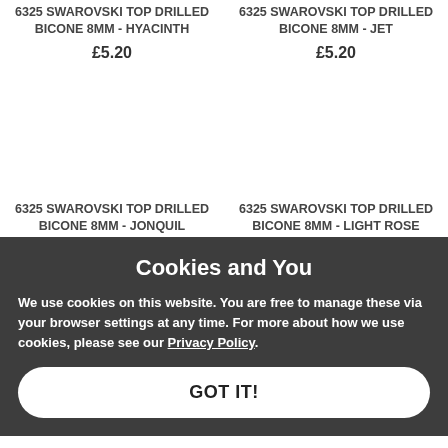6325 SWAROVSKI TOP DRILLED BICONE 8MM - HYACINTH
£5.20
6325 SWAROVSKI TOP DRILLED BICONE 8MM - JET
£5.20
Cookies and You
We use cookies on this website. You are free to manage these via your browser settings at any time. For more about how we use cookies, please see our Privacy Policy.
6325 SWAROVSKI TOP DRILLED BICONE 8MM - JONQUIL
£5.20
6325 SWAROVSKI TOP DRILLED BICONE 8MM - LIGHT ROSE
£5.20
GOT IT!